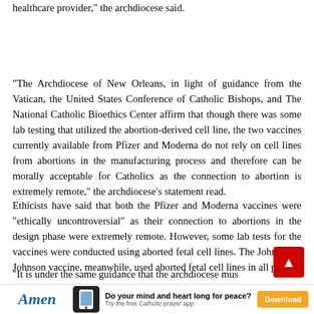healthcare provider,” the archdiocese said.
“The Archdiocese of New Orleans, in light of guidance from the Vatican, the United States Conference of Catholic Bishops, and The National Catholic Bioethics Center affirm that though there was some lab testing that utilized the abortion-derived cell line, the two vaccines currently available from Pfizer and Moderna do not rely on cell lines from abortions in the manufacturing process and therefore can be morally acceptable for Catholics as the connection to abortion is extremely remote,” the archdiocese’s statement read.
Ethicists have said that both the Pfizer and Moderna vaccines were “ethically uncontroversial” as their connection to abortions in the design phase were extremely remote. However, some lab tests for the vaccines were conducted using aborted fetal cell lines. The Johnson & Johnson vaccine, meanwhile, used aborted fetal cell lines in all phases.
“It is under the same guidance that the archdiocese mus…